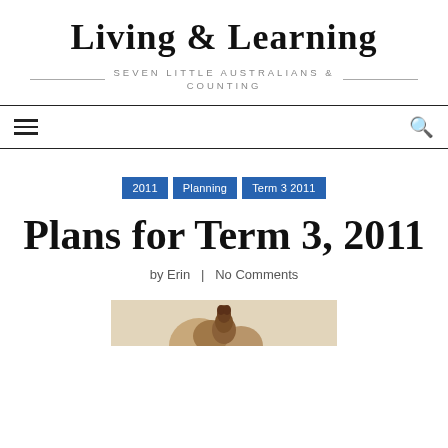Living & Learning
SEVEN LITTLE AUSTRALIANS & COUNTING
2011 | Planning | Term 3 2011
Plans for Term 3, 2011
by Erin  |  No Comments
[Figure (photo): Partial image of an animal (appears to be a deer or similar) cropped at the bottom of the page]